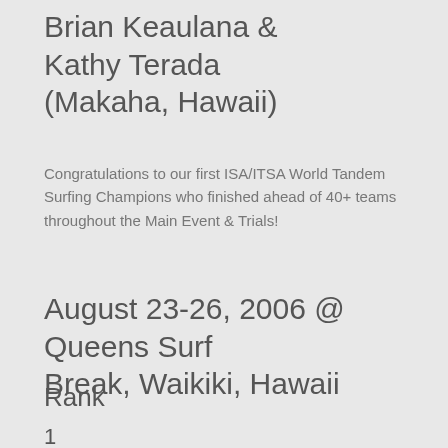Brian Keaulana & Kathy Terada (Makaha, Hawaii)
Congratulations to our first ISA/ITSA World Tandem Surfing Champions who finished ahead of 40+ teams throughout the Main Event & Trials!
August 23-26, 2006 @ Queens Surf Break, Waikiki, Hawaii
Rank
1
2
3
4
5
6